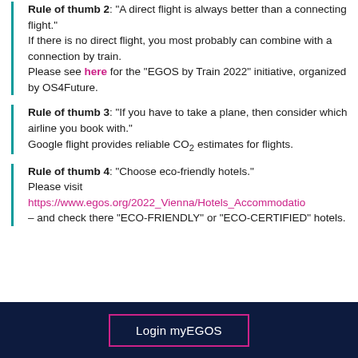Rule of thumb 2: "A direct flight is always better than a connecting flight." If there is no direct flight, you most probably can combine with a connection by train. Please see here for the "EGOS by Train 2022" initiative, organized by OS4Future.
Rule of thumb 3: "If you have to take a plane, then consider which airline you book with." Google flight provides reliable CO2 estimates for flights.
Rule of thumb 4: "Choose eco-friendly hotels." Please visit https://www.egos.org/2022_Vienna/Hotels_Accommodatio – and check there "ECO-FRIENDLY" or "ECO-CERTIFIED" hotels.
Login myEGOS